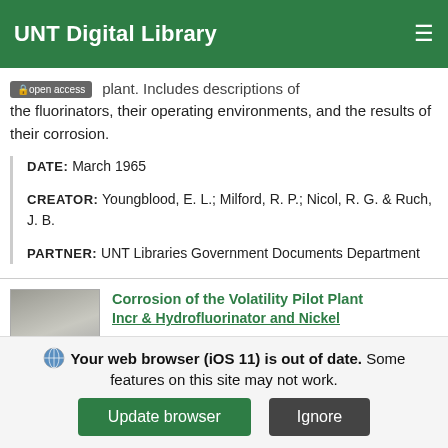UNT Digital Library
open access — plant. Includes descriptions of the fluorinators, their operating environments, and the results of their corrosion.
DATE: March 1965
CREATOR: Youngblood, E. L.; Milford, R. P.; Nicol, R. G. & Ruch, J. B.
PARTNER: UNT Libraries Government Documents Department
[Figure (photo): Thumbnail image of a document page, gray-toned]
Corrosion of the Volatility Pilot Plant Incr & Hydrofluorinator and Nickel
Your web browser (iOS 11) is out of date. Some features on this site may not work.
Update browser | Ignore